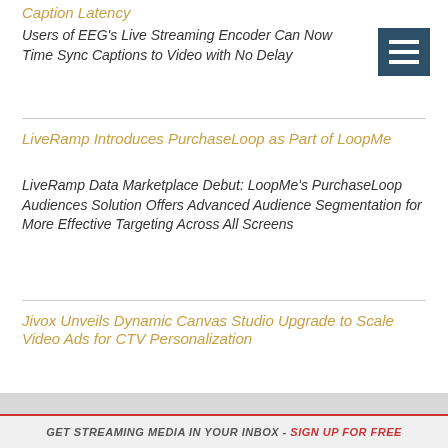Caption Latency
Users of EEG's Live Streaming Encoder Can Now Time Sync Captions to Video with No Delay
LiveRamp Introduces PurchaseLoop as Part of LoopMe
LiveRamp Data Marketplace Debut: LoopMe's PurchaseLoop Audiences Solution Offers Advanced Audience Segmentation for More Effective Targeting Across All Screens
Jivox Unveils Dynamic Canvas Studio Upgrade to Scale Video Ads for CTV Personalization
GET STREAMING MEDIA IN YOUR INBOX - SIGN UP FOR FREE